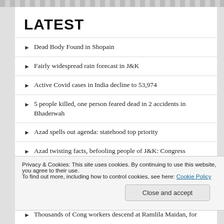LATEST
Dead Body Found in Shopain
Fairly widespread rain forecast in J&K
Active Covid cases in India decline to 53,974
5 people killed, one person feared dead in 2 accidents in Bhaderwah
Azad spells out agenda: statehood top priority
Azad twisting facts, befooling people of J&K: Congress
Privacy & Cookies: This site uses cookies. By continuing to use this website, you agree to their use.
To find out more, including how to control cookies, see here: Cookie Policy
Thousands of Cong workers descend at Ramlila Maidan, for